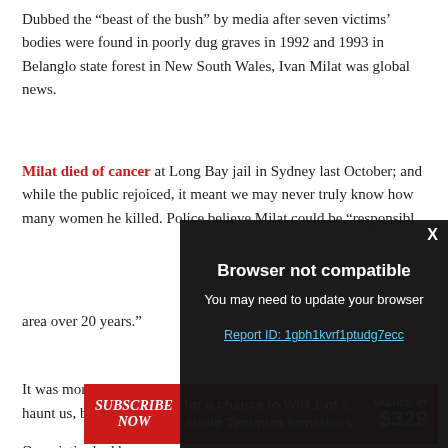Dubbed the “beast of the bush” by media after seven victims’ bodies were found in poorly dug graves in 1992 and 1993 in Belanglo state forest in New South Wales, Ivan Milat was global news.
Milat died of cancer at Long Bay jail in Sydney last October; and while the public rejoiced, it meant we may never truly know how many women he killed. Police believe Milat could be “responsibl[e for disappearances in the] area over 20 years.”
It was more than the [deaths themselves that continue to] haunt us, but also the[...]
One victim had been[...]
[Figure (screenshot): Browser not compatible modal overlay with dark background. Shows 'Browser not compatible' title, 'You may need to update your browser' subtitle, and 'Report ID: 1gbh1kvrf1ptudg7ecc' link. Close button X in top right.]
[Figure (infographic): Red advertisement banner: SUBSCRIBE NOW for a chance to WIN 1 of 2 Audio Technica turntables VALUED AT $329]